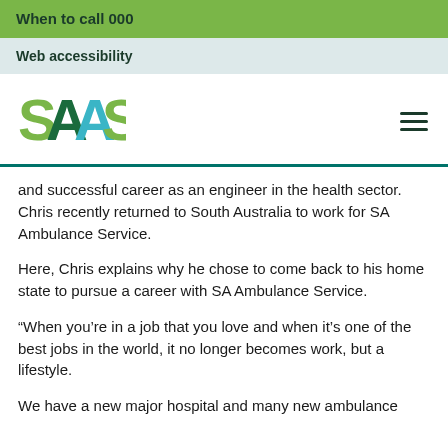When to call 000
Web accessibility
[Figure (logo): SAAS (SA Ambulance Service) logo in green and teal colors]
and successful career as an engineer in the health sector. Chris recently returned to South Australia to work for SA Ambulance Service.
Here, Chris explains why he chose to come back to his home state to pursue a career with SA Ambulance Service.
“When you’re in a job that you love and when it’s one of the best jobs in the world, it no longer becomes work, but a lifestyle.
We have a new major hospital and many new ambulance